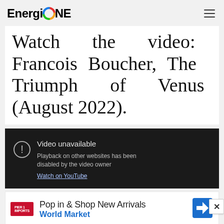EnergiONE
Watch the video: Francois Boucher, The Triumph of Venus (August 2022).
[Figure (screenshot): Embedded YouTube video player showing 'Video unavailable' message with text: 'Playback on other websites has been disabled by the video owner' and a 'Watch on YouTube' link.]
[Figure (screenshot): Advertisement banner for World Market: 'Pop in & Shop New Arrivals' with World Market logo and navigation icon.]